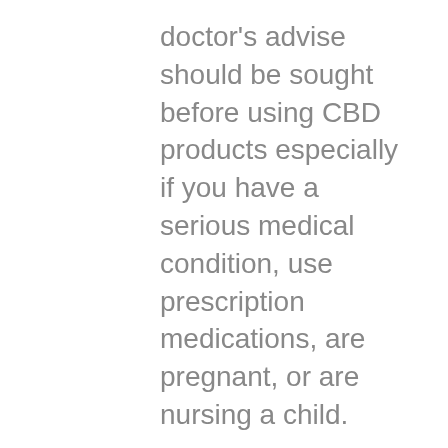doctor's advise should be sought before using CBD products especially if you have a serious medical condition, use prescription medications, are pregnant, or are nursing a child.
There's a great deal of confusion on how much CBD to take.
The various brands don't help much!
They have different bottle sizes and CBD concentrations.